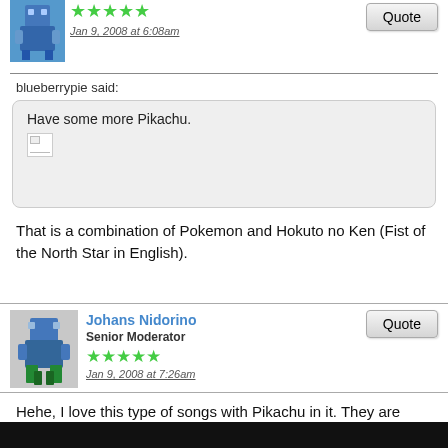[Figure (illustration): Pixel art avatar of a blue robot/character]
[Figure (illustration): Five green stars rating]
Jan 9, 2008 at 6:08am
Quote
blueberrypie said:
Have some more Pikachu.
That is a combination of Pokemon and Hokuto no Ken (Fist of the North Star in English).
Johans Nidorino
Senior Moderator
[Figure (illustration): Five green stars rating]
Jan 9, 2008 at 7:26am
Quote
Hehe, I love this type of songs with Pikachu in it. They are pretty funny.
Did anyone here ever watched the animation for a Japanese Pokémon song named "Exciting Pokémon Relay"? It's an ending theme from the anime, where you see Pikachu, Meowth, Marill, Cubone, and Pichu